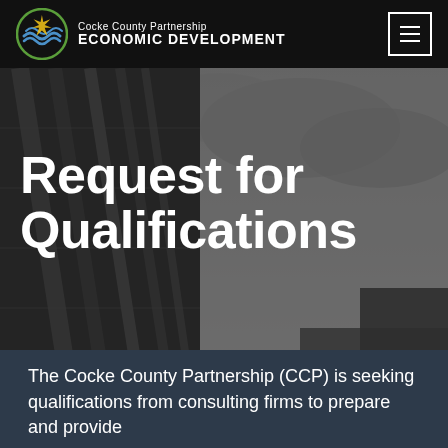Cocke County Partnership ECONOMIC DEVELOPMENT
Request for Qualifications
i  JENNIFER ELLISON    m  COCKE COUNTY    ◆  RFQ
▼ 0
The Cocke County Partnership (CCP) is seeking qualifications from consulting firms to prepare and provide